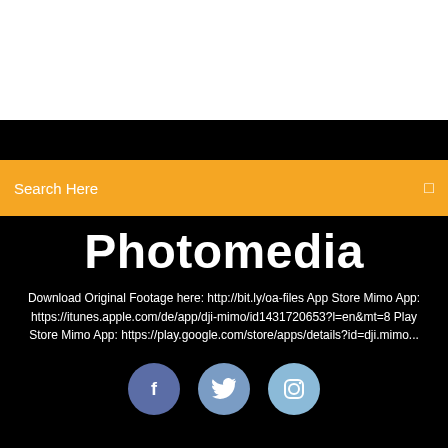[Figure (screenshot): White top area of a mobile app/website screenshot]
Search Here
Photomedia
Download Original Footage here: http://bit.ly/oa-files App Store Mimo App: https://itunes.apple.com/de/app/dji-mimo/id1431720653?l=en&mt=8 Play Store Mimo App: https://play.google.com/store/apps/details?id=dji.mimo...
[Figure (illustration): Social media icons: Facebook, Twitter, Instagram circular buttons]